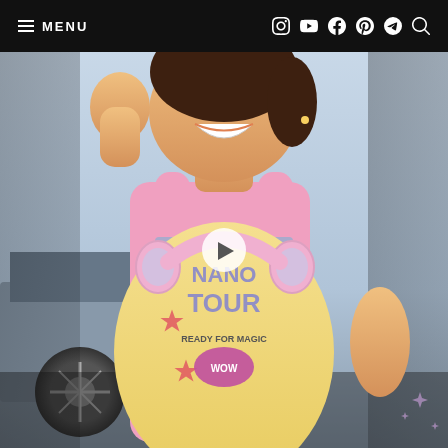≡ MENU  [instagram] [youtube] [facebook] [pinterest] [send] [search]
[Figure (photo): A young smiling girl wearing a yellow t-shirt with 'NANO TOUR READY FOR MAGIC WOW' graphic print, a pink backpack with silver reflective stripes, and pink over-ear headphones around her neck. She is posing with one arm raised. Background shows a car and light blue/grey setting. Dark sparkles visible in corners. A video play button is overlaid in the center of the image.]